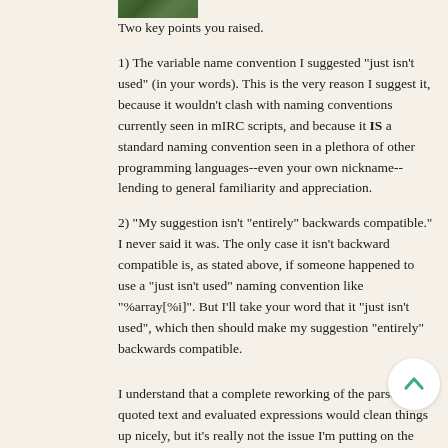[Figure (photo): Small avatar/profile image of a user, showing green foliage]
Two key points you raised.
1) The variable name convention I suggested "just isn't used" (in your words). This is the very reason I suggest it, because it wouldn't clash with naming conventions currently seen in mIRC scripts, and because it IS a standard naming convention seen in a plethora of other programming languages--even your own nickname--lending to general familiarity and appreciation.
2) "My suggestion isn't "entirely" backwards compatible." I never said it was. The only case it isn't backward compatible is, as stated above, if someone happened to use a "just isn't used" naming convention like "%array[%i]". But I'll take your word that it "just isn't used", which then should make my suggestion "entirely" backwards compatible.
I understand that a complete reworking of the parser using quoted text and evaluated expressions would clean things up nicely, but it's really not the issue I'm putting on the plate here.
I believe that the changes expressed in my suggestion would require a minimal amount of work to implement.